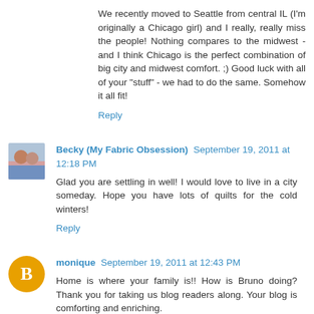We recently moved to Seattle from central IL (I'm originally a Chicago girl) and I really, really miss the people! Nothing compares to the midwest - and I think Chicago is the perfect combination of big city and midwest comfort. ;) Good luck with all of your "stuff" - we had to do the same. Somehow it all fit!
Reply
Becky (My Fabric Obsession) September 19, 2011 at 12:18 PM
Glad you are settling in well! I would love to live in a city someday. Hope you have lots of quilts for the cold winters!
Reply
monique September 19, 2011 at 12:43 PM
Home is where your family is!! How is Bruno doing? Thank you for taking us blog readers along. Your blog is comforting and enriching.